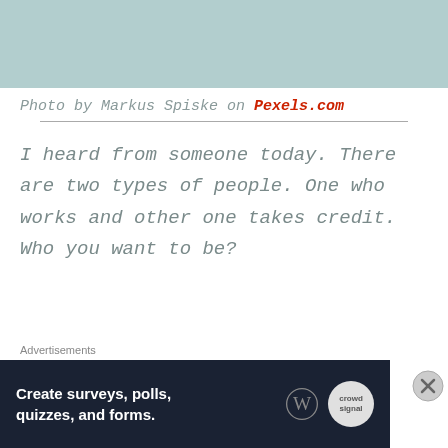[Figure (photo): Light teal/blue-green colored rectangular image at the top of the page]
Photo by Markus Spiske on Pexels.com
I heard from someone today. There are two types of people. One who works and other one takes credit. Who you want to be?
Advertisements
[Figure (screenshot): Advertisement banner: Create surveys, polls, quizzes, and forms. Dark navy background with WordPress and Crowdsignal logos.]